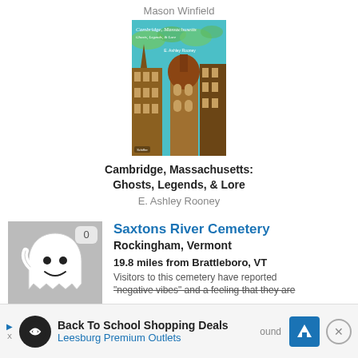Mason Winfield
[Figure (photo): Book cover for Cambridge, Massachusetts: Ghosts, Legends, & Lore by E. Ashley Rooney. Shows architectural buildings with a teal/green sky, illustrated style.]
Cambridge, Massachusetts: Ghosts, Legends, & Lore
E. Ashley Rooney
[Figure (illustration): Ghost icon (white cartoon ghost with smile) on grey background with count badge showing 0]
Saxtons River Cemetery
Rockingham, Vermont
19.8 miles from Brattleboro, VT
Visitors to this cemetery have reported "negative vibes" and a feeling that they are
[Figure (infographic): Advertisement banner: Back To School Shopping Deals - Leesburg Premium Outlets, with logo and navigation arrow icon]